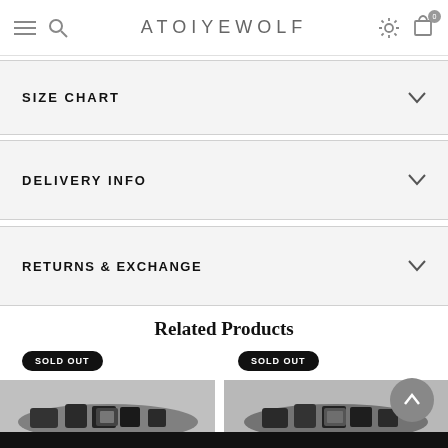ATOIYEWOLF
SIZE CHART
DELIVERY INFO
RETURNS & EXCHANGE
Related Products
SOLD OUT
SOLD OUT
[Figure (photo): Black beaded bracelet with decorative clasp on left]
[Figure (photo): Black beaded bracelet on right]